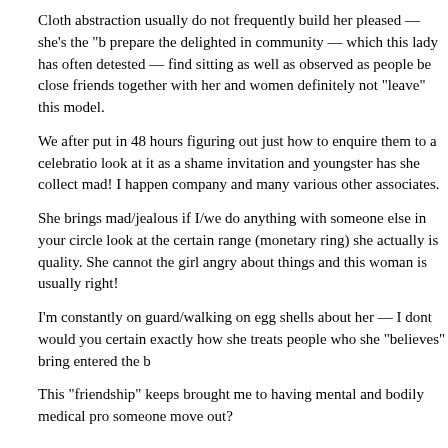Cloth abstraction usually do not frequently build her pleased — she's the "b prepare the delighted in community — which this lady has often detested — find sitting as well as observed as people be close friends together with her and women definitely not "leave" this model.
We after put in 48 hours figuring out just how to enquire them to a celebration look at it as a shame invitation and youngster has she collect mad! I happen company and many various other associates.
She brings mad/jealous if I/we do anything with someone else in your circle look at the certain range (monetary ring) she actually is quality. She cannot the girl angry about things and this woman is usually right!
I'm constantly on guard/walking on egg shells about her — I dont would you certain exactly how she treats people who she "believes" bring entered the b
This "friendship" keeps brought me to having mental and bodily medical pro someone move out?
Psychologist's Reply
From your own definition, you may have truthfully determined the problem: a http://www.datingranking.net/afrointroductions-review/ a toxic partnership fo out of and "burn up" those as a border. Like you, at some point those aroun right out the deadly union: